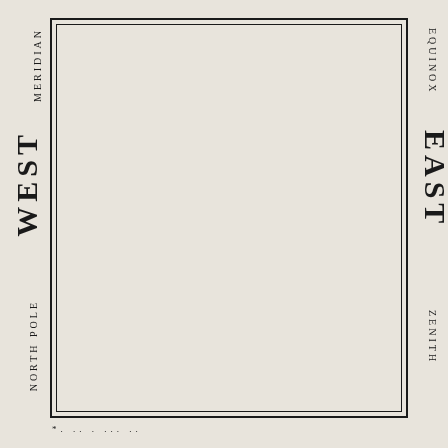[Figure (schematic): A blank rectangular diagram bordered by a double-line frame, with directional and astronomical labels rotated vertically along the left and right sides. Left side labels from top to bottom: MERIDIAN, WEST, NORTH POLE, NADIR. Right side labels from top to bottom: EQUINOX, EAST, ZENITH, LONGITUDE. The interior of the frame is empty/blank.]
* . .. . ... ..